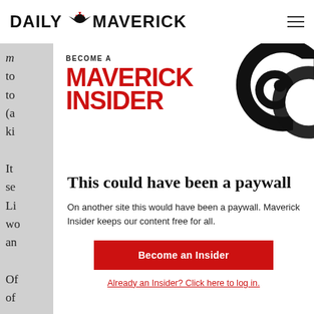DAILY MAVERICK
[Figure (logo): Daily Maverick news site logo with eagle/bird icon between DAILY and MAVERICK text]
m... to... to... (a... ki...
[Figure (infographic): Become a Maverick Insider promotional banner with large red MAVERICK INSIDER text and a black swirl/spiral graphic on the right]
It... se... Li... wo... an... Of... of...
This could have been a paywall
On another site this would have been a paywall. Maverick Insider keeps our content free for all.
Become an Insider
Already an Insider? Click here to log in.